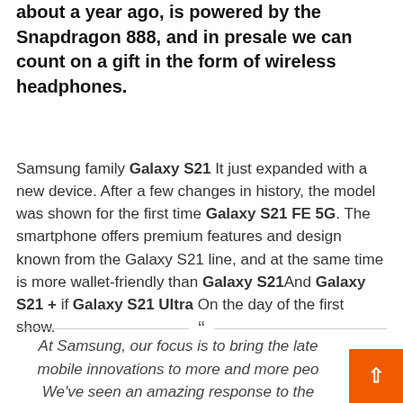about a year ago, is powered by the Snapdragon 888, and in presale we can count on a gift in the form of wireless headphones.
Samsung family Galaxy S21 It just expanded with a new device. After a few changes in history, the model was shown for the first time Galaxy S21 FE 5G. The smartphone offers premium features and design known from the Galaxy S21 line, and at the same time is more wallet-friendly than Galaxy S21And Galaxy S21 + if Galaxy S21 Ultra On the day of the first show.
At Samsung, our focus is to bring the late mobile innovations to more and more peo We've seen an amazing response to the Galaxy S20 FE and Galaxy S21 range of